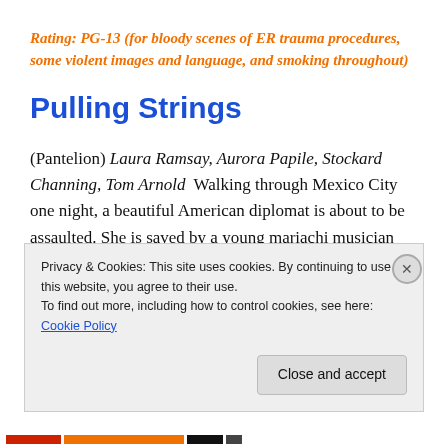Rating: PG-13 (for bloody scenes of ER trauma procedures, some violent images and language, and smoking throughout)
Pulling Strings
(Pantelion) Laura Ramsay, Aurora Papile, Stockard Channing, Tom Arnold  Walking through Mexico City one night, a beautiful American diplomat is about to be assaulted. She is saved by a young mariachi musician
Privacy & Cookies: This site uses cookies. By continuing to use this website, you agree to their use.
To find out more, including how to control cookies, see here: Cookie Policy
Close and accept